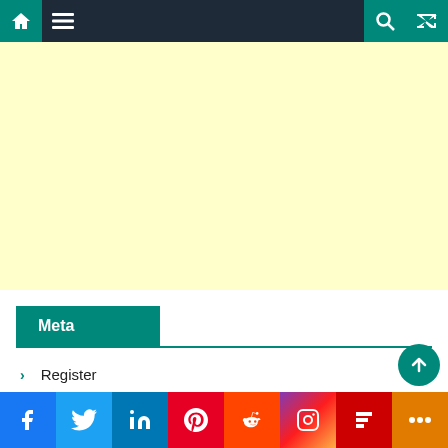[Figure (screenshot): Website navigation bar with home icon, hamburger menu, search icon, and shuffle icon on dark background with teal accent buttons]
[Figure (screenshot): Light yellow advertisement placeholder area]
Meta
Register
Log in
[Figure (screenshot): Social media sharing bar with Facebook, Twitter, LinkedIn, Pinterest, Reddit, Instagram, Flipboard, and More buttons]